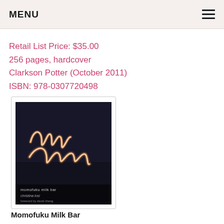MENU
Retail List Price: $35.00
256 pages, hardcover
Clarkson Potter (October 2011)
ISBN: 978-0307720498
[Figure (photo): Book cover of Momofuku Milk Bar by Christina Tosi. Dark background with neon-light cursive 'milk' text. Bottom text reads 'momofuku milk bar' and 'christina tosi, foreword by david chang'.]
Momofuku Milk Bar